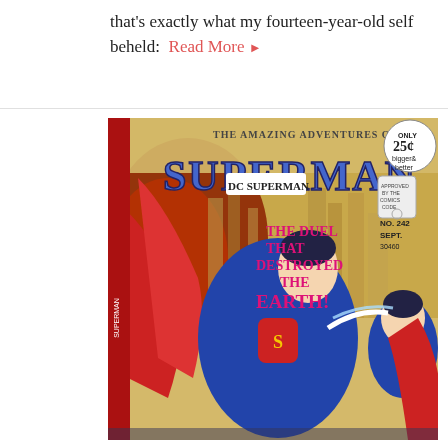that's exactly what my fourteen-year-old self beheld:  Read More ▶
[Figure (photo): Comic book cover: 'The Amazing Adventures of Superman' No. 242, September. Shows Superman fighting a duplicate of himself, with text 'The Duel That Destroyed the Earth!' DC Comics, priced at 25 cents.]